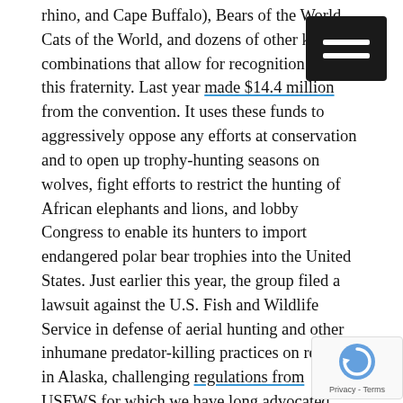rhino, and Cape Buffalo), Bears of the World, Cats of the World, and dozens of other killing combinations that allow for recognition within this fraternity. Last year made $14.4 million from the convention. It uses these funds to aggressively oppose any efforts at conservation and to open up trophy-hunting seasons on wolves, fight efforts to restrict the hunting of African elephants and lions, and lobby Congress to enable its hunters to import endangered polar bear trophies into the United States. Just earlier this year, the group filed a lawsuit against the U.S. Fish and Wildlife Service in defense of aerial hunting and other inhumane predator-killing practices on refuges in Alaska, challenging regulations from USFWS for which we have long advocated.
Make no mistake, this is a large gathering of wealthy people who as a group may spread more pain and loss on wildlife than just about any other collective on earth; let's also remember that they hold minority views among